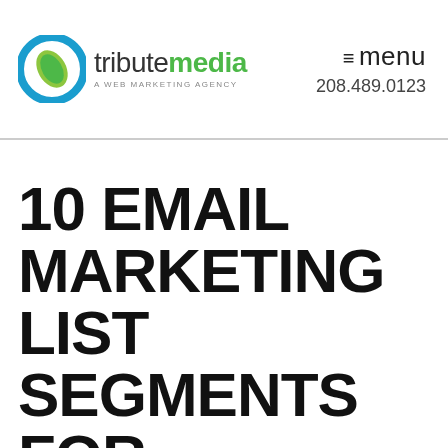[Figure (logo): Tribute Media logo: circular icon with blue ring and green leaf, with text 'tributemedia' and tagline 'A WEB MARKETING AGENCY']
≡ menu
208.489.0123
10 EMAIL MARKETING LIST SEGMENTS FOR SUCCESSFUL SENDS